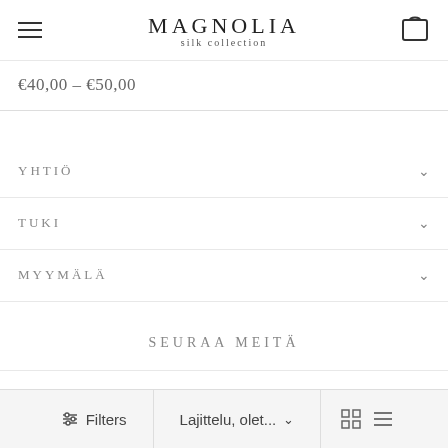MAGNOLIA silk collection
€40,00 – €50,00
YHTIÖ
TUKI
MYYMÄLÄ
SEURAA MEITÄ
Filters  Lajittelu, olet...